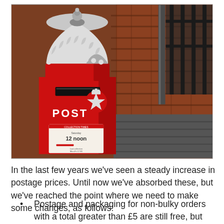[Figure (photo): A red Victorian-era Royal Mail post box with 'POST' written on it and a silver crown/royal cypher decoration, set against a red brick wall background. The post box has a collection times notice showing Saturday 12 noon.]
In the last few years we've seen a steady increase in postage prices. Until now we've absorbed these, but we've reached the point where we need to make some changes, as follows:
Postage and packaging for non-bulky orders with a total greater than £5 are still free, but we've increased the smallest order postage (more from...